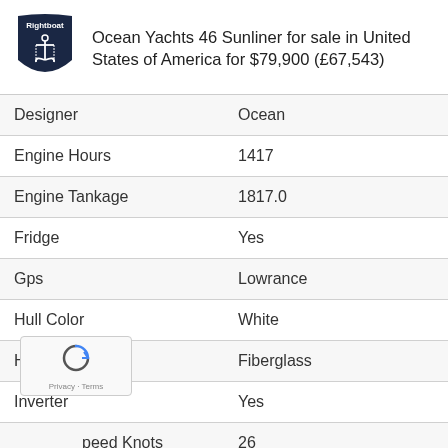Ocean Yachts 46 Sunliner for sale in United States of America for $79,900 (£67,543)
| Field | Value |
| --- | --- |
| Designer | Ocean |
| Engine Hours | 1417 |
| Engine Tankage | 1817.0 |
| Fridge | Yes |
| Gps | Lowrance |
| Hull Color | White |
| Hull Type | Fiberglass |
| Inverter | Yes |
| Speed Knots | 26 |